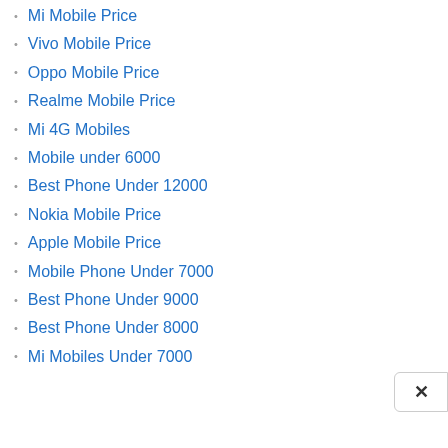Mi Mobile Price
Vivo Mobile Price
Oppo Mobile Price
Realme Mobile Price
Mi 4G Mobiles
Mobile under 6000
Best Phone Under 12000
Nokia Mobile Price
Apple Mobile Price
Mobile Phone Under 7000
Best Phone Under 9000
Best Phone Under 8000
Mi Mobiles Under 7000